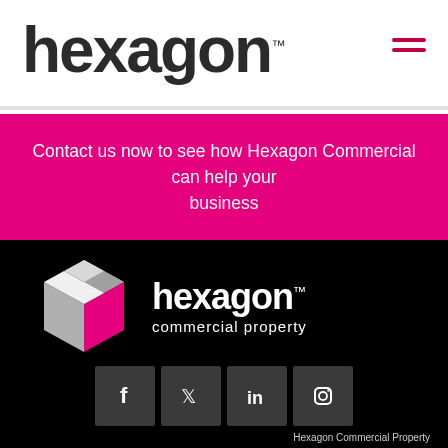[Figure (logo): Hexagon logo text in dark color with TM superscript on white header bar]
Contact us now to see how Hexagon Commercial can help your business
[Figure (logo): Hexagon commercial property logo — hexagon geometric icon in grey and magenta with white text on black background]
[Figure (other): Social media icon buttons: Facebook, Twitter, LinkedIn, Instagram on dark grey squares]
Hexagon Commercial Property